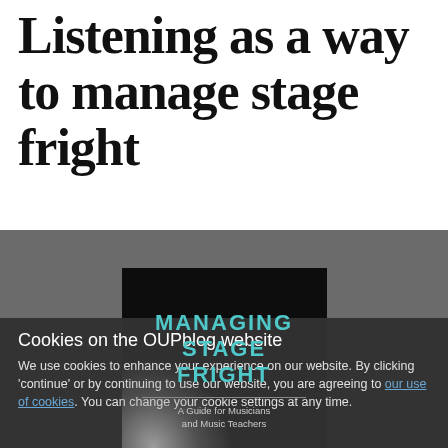Listening as a way to manage stage fright
[Figure (illustration): Book cover for 'Managing Stage Fright: A Guide for Musicians and Music Teachers' on a dark gray background banner. The book cover shows the title in teal/cyan uppercase letters, a thin horizontal line, and the subtitle in light gray text, with a spotlight glow effect in the lower-left corner.]
Cookies on the OUPblog website
We use cookies to enhance your experience on our website. By clicking 'continue' or by continuing to use our website, you are agreeing to our use of cookies. You can change your cookie settings at any time.